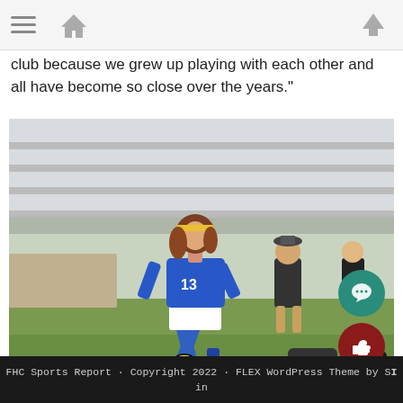Navigation bar with hamburger menu, home icon, and up arrow
club because we grew up playing with each other and all have become so close over the years."
[Figure (photo): A female soccer player in a blue uniform with number 13, running and dribbling a yellow soccer ball on a grass field. Bleachers and spectators visible in the background.]
FHC Sports Report · Copyright 2022 · FLEX WordPress Theme by SI in